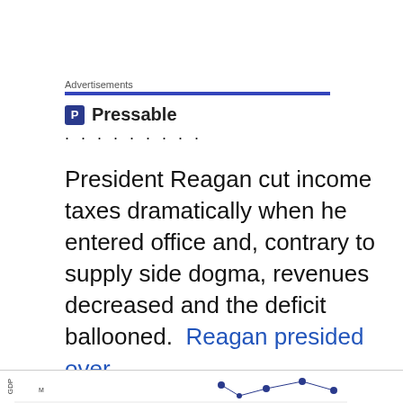Advertisements
[Figure (logo): Pressable logo with blue P icon and text 'Pressable' followed by dotted line]
President Reagan cut income taxes dramatically when he entered office and, contrary to supply side dogma, revenues decreased and the deficit ballooned.  Reagan presided over
Privacy & Cookies: This site uses cookies. By continuing to use this website, you agree to their use.
To find out more, including how to control cookies, see here: Cookie Policy

Close and accept
[Figure (other): Bottom strip showing partial chart with rotated axis label and data points]